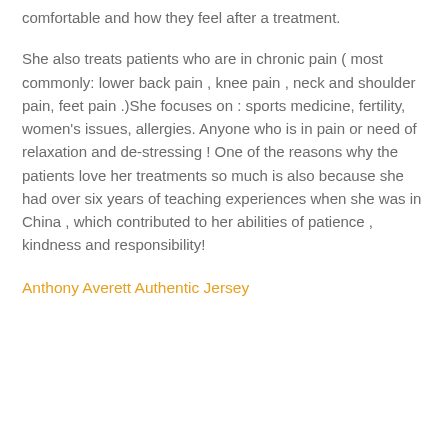comfortable and how they feel after a treatment.
She also treats patients who are in chronic pain ( most commonly: lower back pain , knee pain , neck and shoulder pain, feet pain .)She focuses on : sports medicine, fertility, women's issues, allergies. Anyone who is in pain or need of relaxation and de-stressing ! One of the reasons why the patients love her treatments so much is also because she had over six years of teaching experiences when she was in China , which contributed to her abilities of patience , kindness and responsibility!
Anthony Averett Authentic Jersey